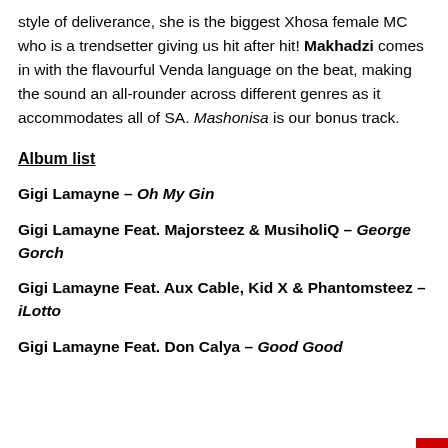style of deliverance, she is the biggest Xhosa female MC who is a trendsetter giving us hit after hit! Makhadzi comes in with the flavourful Venda language on the beat, making the sound an all-rounder across different genres as it accommodates all of SA. Mashonisa is our bonus track.
Album list
Gigi Lamayne – Oh My Gin
Gigi Lamayne Feat. Majorsteez & MusiholiQ – George Gorch
Gigi Lamayne Feat. Aux Cable, Kid X & Phantomsteez – iLotto
Gigi Lamayne Feat. Don Calya – Good Good